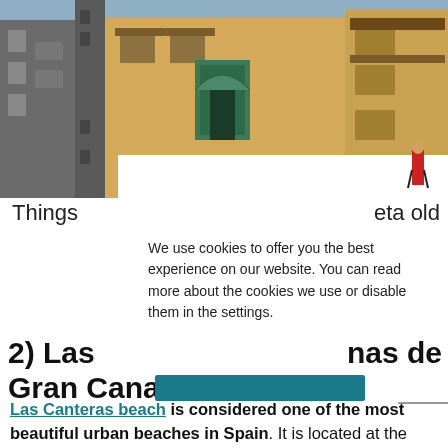[Figure (photo): Photograph of historic buildings in Las Palmas de Gran Canaria old town, showing colonial architecture with wooden balconies, a decorative green-tiled doorway, and ochre-colored walls under a blue sky.]
Things                                                      eta old
We use cookies to offer you the best experience on our website. You can read more about the cookies we use or disable them in the settings.
2) Las                                                nas de Gran Canaria
Las Canteras beach is considered one of the most beautiful urban beaches in Spain. It is located at the other side of the city. If you like to walk, we recommend that you go from one end of